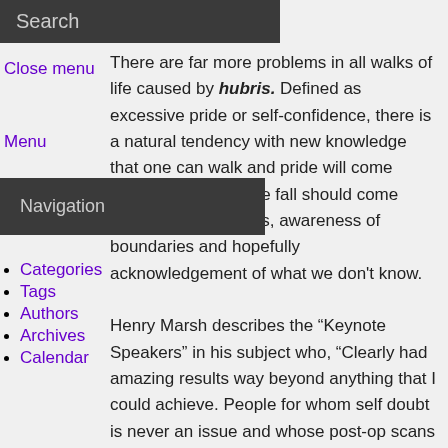Search
Close menu
Menu
Navigation
Categories
Tags
Authors
Archives
Calendar
Search
No results found
There are far more problems in all walks of life caused by hubris. Defined as excessive pride or self-confidence, there is a natural tendency with new knowledge that one can walk and pride will come before a fall. With the fall should come learning of limitations, awareness of boundaries and hopefully acknowledgement of what we don't know.

Henry Marsh describes the “Keynote Speakers” in his subject who, “Clearly had amazing results way beyond anything that I could achieve. People for whom self doubt is never an issue and whose post-op scans never showed a trace of residual tumours.” He then talks about Hubris driving him on, the risks of over confidence and the disasters that arose. I am reminded of the Key Opinion Leaders (KOLs) associated with newer Short Term Orthodontic and other techniques who are paid by companies and make claims and encourage use of one